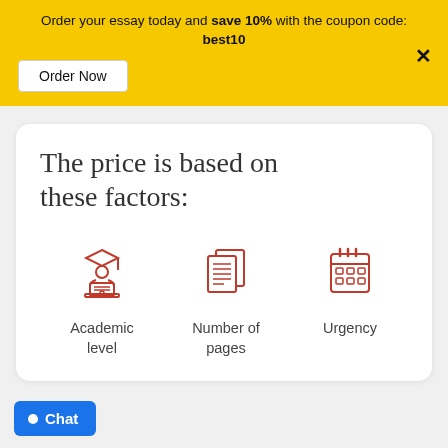Order your essay today and save 10% with the coupon code: best10
Order Now
The price is based on these factors:
[Figure (illustration): Three red icons: a student with graduation cap at laptop (Academic level), two stacked pages with lines (Number of pages), and a calendar grid (Urgency)]
Academic level
Number of pages
Urgency
Chat